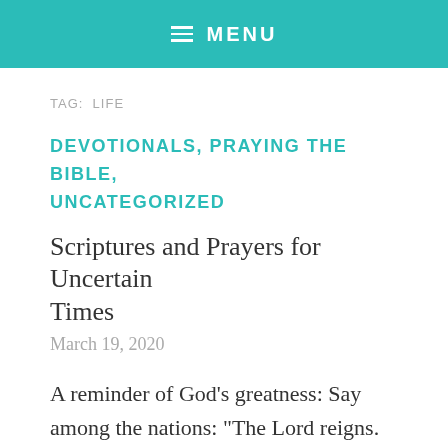≡ MENU
TAG: LIFE
DEVOTIONALS, PRAYING THE BIBLE, UNCATEGORIZED
Scriptures and Prayers for Uncertain Times
March 19, 2020
A reminder of God's greatness: Say among the nations: "The Lord reigns. The world is firmly established; it